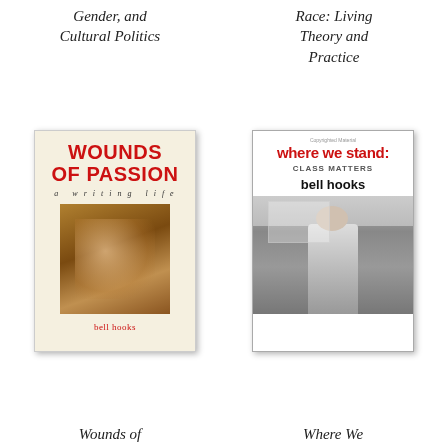Gender, and Cultural Politics
Race: Living Theory and Practice
[Figure (photo): Book cover of 'Wounds of Passion: a writing life' by bell hooks, featuring two hands with cross symbols on warm brown background]
[Figure (photo): Book cover of 'where we stand: CLASS MATTERS' by bell hooks, featuring a black and white photo of a woman standing at a counter]
Wounds of
Where We